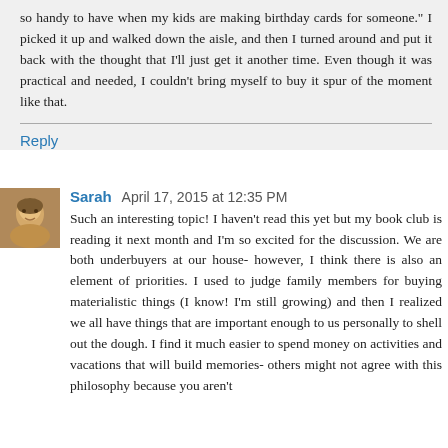so handy to have when my kids are making birthday cards for someone." I picked it up and walked down the aisle, and then I turned around and put it back with the thought that I'll just get it another time. Even though it was practical and needed, I couldn't bring myself to buy it spur of the moment like that.
Reply
Sarah  April 17, 2015 at 12:35 PM
Such an interesting topic! I haven't read this yet but my book club is reading it next month and I'm so excited for the discussion. We are both underbuyers at our house- however, I think there is also an element of priorities. I used to judge family members for buying materialistic things (I know! I'm still growing) and then I realized we all have things that are important enough to us personally to shell out the dough. I find it much easier to spend money on activities and vacations that will build memories- others might not agree with this philosophy because you aren't